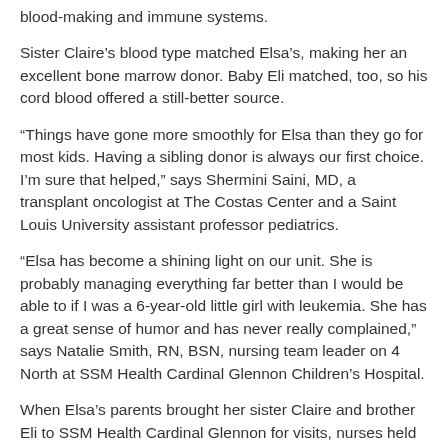blood-making and immune systems.
Sister Claire’s blood type matched Elsa’s, making her an excellent bone marrow donor. Baby Eli matched, too, so his cord blood offered a still-better source.
“Things have gone more smoothly for Elsa than they go for most kids. Having a sibling donor is always our first choice. I’m sure that helped,” says Shermini Saini, MD, a transplant oncologist at The Costas Center and a Saint Louis University assistant professor pediatrics.
“Elsa has become a shining light on our unit. She is probably managing everything far better than I would be able to if I was a 6-year-old little girl with leukemia. She has a great sense of humor and has never really complained,” says Natalie Smith, RN, BSN, nursing team leader on 4 North at SSM Health Cardinal Glennon Children’s Hospital.
When Elsa’s parents brought her sister Claire and brother Eli to SSM Health Cardinal Glennon for visits, nurses held and hugged the siblings behind the nurse’s station outside the isolation unit doors.